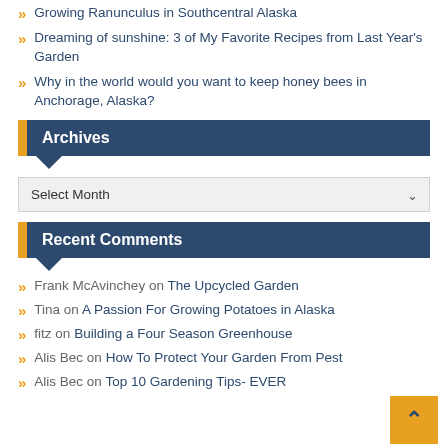Growing Ranunculus in Southcentral Alaska
Dreaming of sunshine: 3 of My Favorite Recipes from Last Year's Garden
Why in the world would you want to keep honey bees in Anchorage, Alaska?
Archives
Select Month
Recent Comments
Frank McAvinchey on The Upcycled Garden
Tina on A Passion For Growing Potatoes in Alaska
fitz on Building a Four Season Greenhouse
Alis Bec on How To Protect Your Garden From Pest
Alis Bec on Top 10 Gardening Tips- EVER